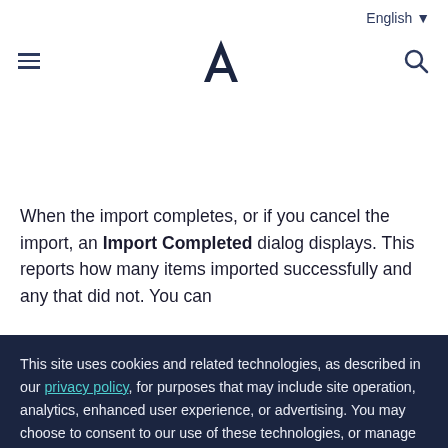English ▾  ≡  [logo]  🔍
When the import completes, or if you cancel the import, an Import Completed dialog displays. This reports how many items imported successfully and any that did not. You can
This site uses cookies and related technologies, as described in our privacy policy, for purposes that may include site operation, analytics, enhanced user experience, or advertising. You may choose to consent to our use of these technologies, or manage your own preferences.
Accept
Decline
Manage settings